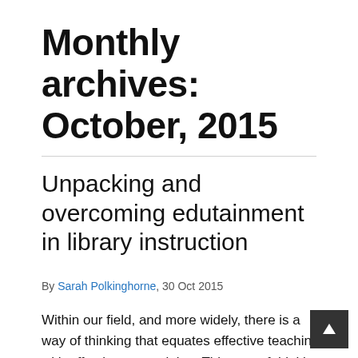Monthly archives: October, 2015
Unpacking and overcoming edutainment in library instruction
By Sarah Polkinghorne, 30 Oct 2015
Within our field, and more widely, there is a way of thinking that equates effective teaching with effective entertaining. This way of thinking can be referred as a “discourse of edutainment.” It underpins some of the publications and conversations that encourage